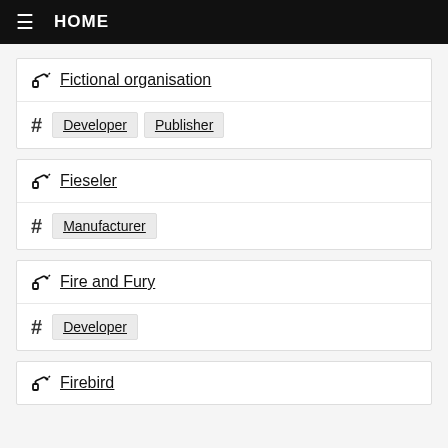HOME
Fictional organisation — Developer, Publisher
Fieseler — Manufacturer
Fire and Fury — Developer
Firebird